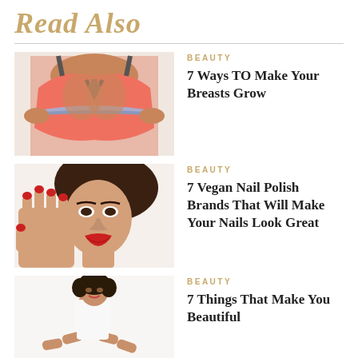Read Also
[Figure (photo): Woman in pink sports bra being measured with tape measure]
BEAUTY
7 Ways TO Make Your Breasts Grow
[Figure (photo): Woman with red nail polish posing with hands near face, smiling]
BEAUTY
7 Vegan Nail Polish Brands That Will Make Your Nails Look Great
[Figure (photo): Woman in white sitting on floor with legs extended]
BEAUTY
7 Things That Make You Beautiful